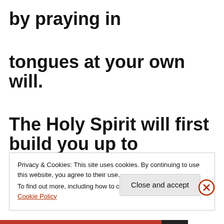by praying in
tongues at your own will.
The Holy Spirit will first build you up to
that place of
Privacy & Cookies: This site uses cookies. By continuing to use this website, you agree to their use.
To find out more, including how to control cookies, see here: Cookie Policy